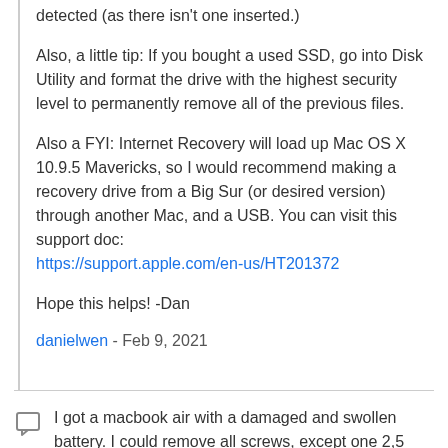detected (as there isn't one inserted.)
Also, a little tip: If you bought a used SSD, go into Disk Utility and format the drive with the highest security level to permanently remove all of the previous files.
Also a FYI: Internet Recovery will load up Mac OS X 10.9.5 Mavericks, so I would recommend making a recovery drive from a Big Sur (or desired version) through another Mac, and a USB. You can visit this support doc: https://support.apple.com/en-us/HT201372
Hope this helps! -Dan
danielwen - Feb 9, 2021
I got a macbook air with a damaged and swollen battery. I could remove all screws, except one 2,5 mm screw. I'm afraid it got damaged while attempting to remove it, I have no grip with the P5